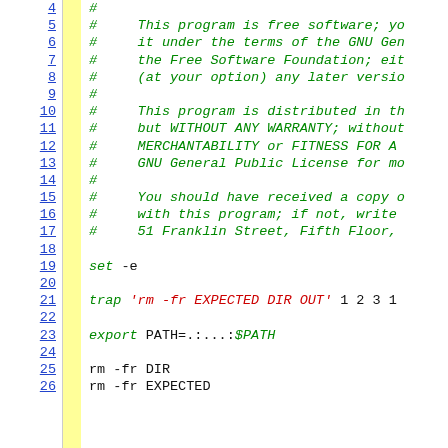Code viewer showing shell script lines 4-26 with line numbers, a yellow gutter, and syntax-highlighted code including GPL license comment block, set -e, trap, export PATH, and rm commands.